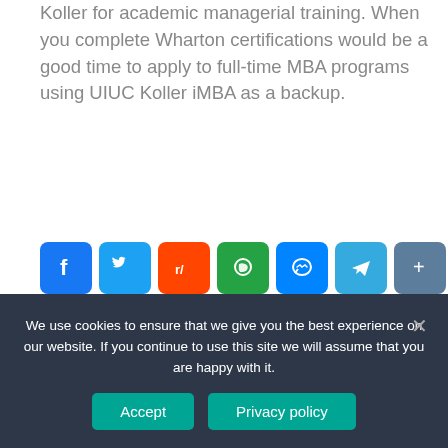Koller for academic managerial training. When you complete Wharton certifications would be a good time to apply to full-time MBA programs using UIUC Koller iMBA as a backup.
[Figure (infographic): Row of social sharing icon buttons: Facebook, Twitter, Reddit, WhatsApp, Messenger, Telegram, Share]
< What font should I use for my CV UK?
We use cookies to ensure that we give you the best experience on our website. If you continue to use this site we will assume that you are happy with it.